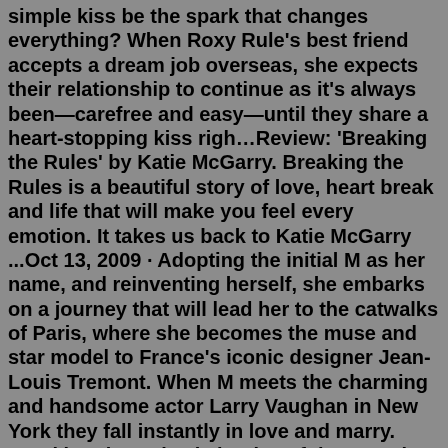simple kiss be the spark that changes everything? When Roxy Rule's best friend accepts a dream job overseas, she expects their relationship to continue as it's always been—carefree and easy—until they share a heart-stopping kiss righ…Review: 'Breaking the Rules' by Katie McGarry. Breaking the Rules is a beautiful story of love, heart break and life that will make you feel every emotion. It takes us back to Katie McGarry ...Oct 13, 2009 · Adopting the initial M as her name, and reinventing herself, she embarks on a journey that will lead her to the catwalks of Paris, where she becomes the muse and star model to France's iconic designer Jean-Louis Tremont. When M meets the charming and handsome actor Larry Vaughan in New York they fall instantly in love and marry. Breaking the Rules is book 1 of the Forsaken 99 MC trilogy. Books 2 and 3, Breaking the Vow and Breaking the Bride are available everywhere now! I'M BREAKING ALL THE RULES TO MAKE HER MINE. She thought she was safe. Well, she thought wrong. I don't obey rules—I break them. And I'm